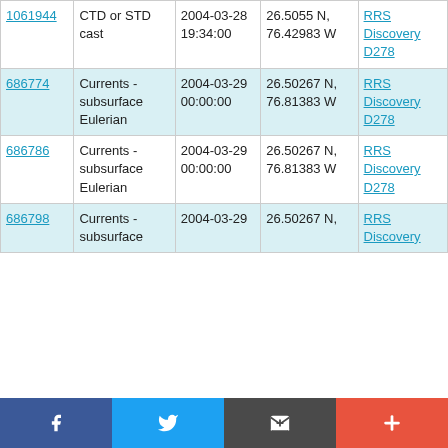| ID | Type | Date | Location | Vessel |
| --- | --- | --- | --- | --- |
| 1061944 | CTD or STD cast | 2004-03-28 19:34:00 | 26.5055 N, 76.42983 W | RRS Discovery D278 |
| 686774 | Currents - subsurface Eulerian | 2004-03-29 00:00:00 | 26.50267 N, 76.81383 W | RRS Discovery D278 |
| 686786 | Currents - subsurface Eulerian | 2004-03-29 00:00:00 | 26.50267 N, 76.81383 W | RRS Discovery D278 |
| 686798 | Currents - subsurface | 2004-03-29 | 26.50267 N, | RRS Discovery |
[Figure (other): Social sharing bar with Facebook, Twitter, email/share, and plus (+) buttons]